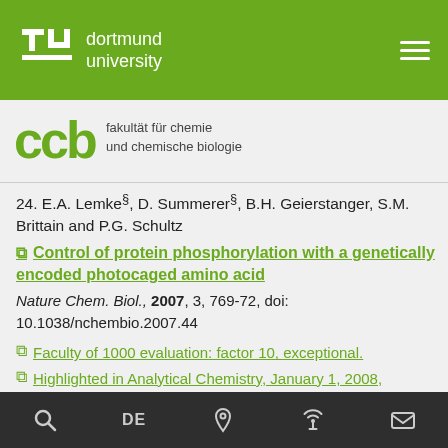[Figure (logo): TU Dortmund University logo — white TU letters with bracket shape on green background, with text 'dortmund university' in white]
[Figure (logo): CCB logo — green stylized letters 'ccb' with text 'fakultät für chemie und chemische biologie']
24. E.A. Lemke§, D. Summerer§, B.H. Geierstanger, S.M. Brittain and P.G. Schultz
Control of protein phosphorylation with a genetically encoded photocaged amino acid
Nature Chem. Biol., 2007, 3, 769-72, doi: 10.1038/nchembio.2007.44
Faculty of 1000 evaluation: factor 10, exceptional.
Highlighted in Analytical Chemistry, January 1, 2008, "Photocaged amino acids enable scientists to study phosphorylation in vivo"
Highlighted by Arnaud, CH, Chemical & Engineering